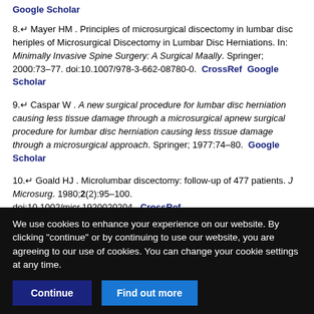Google Scholar
8. Mayer HM . Principles of microsurgical discectomy in lumbar disc heriples of Microsurgical Discectomy in Lumbar Disc Herniations. In: Minimally Invasive Spine Surgery: A Surgical Maally. Springer; 2000:73–77. doi:10.1007/978-3-662-08780-0. CrossRef Google Scholar
9. Caspar W . A new surgical procedure for lumbar disc herniation causing less tissue damage through a microsurgical apnew surgical procedure for lumbar disc herniation causing less tissue damage through a microsurgical approach. Springer; 1977:74–80. Google Scholar
10. Goald HJ . Microlumbar discectomy: follow-up of 477 patients. J Microsurg. 1980;2(2):95–100. doi:10.1002/micr.1920020204. CrossRef PubMed Google Scholar
We use cookies to enhance your experience on our website. By clicking "continue" or by continuing to use our website, you are agreeing to our use of cookies. You can change your cookie settings at any time.